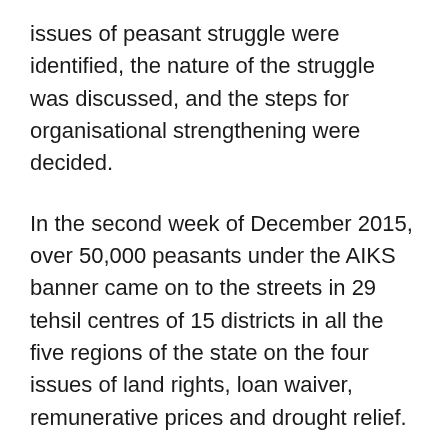issues of peasant struggle were identified, the nature of the struggle was discussed, and the steps for organisational strengthening were decided.
In the second week of December 2015, over 50,000 peasants under the AIKS banner came on to the streets in 29 tehsil centres of 15 districts in all the five regions of the state on the four issues of land rights, loan waiver, remunerative prices and drought relief.
On January 7 and 8, 2016 respectively, AIKS held two regional-level loan-waiver and drought relief conventions at Selu in Parbhani district for the